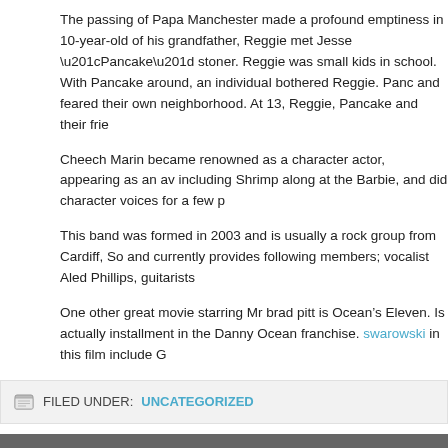The passing of Papa Manchester made a profound emptiness in 10-year-old of his grandfather, Reggie met Jesse “Pancake” stoner. Reggie was small kids in school. With Pancake around, an individual bothered Reggie. Panc and feared their own neighborhood. At 13, Reggie, Pancake and their frie
Cheech Marin became renowned as a character actor, appearing as an av including Shrimp along at the Barbie, and did character voices for a few p
This band was formed in 2003 and is usually a rock group from Cardiff, So and currently provides following members; vocalist Aled Phillips, guitarists
One other great movie starring Mr brad pitt is Ocean’s Eleven. Is actually installment in the Danny Ocean franchise. swarowski in this film include G
FILED UNDER: UNCATEGORIZED
Shoppers Planet
Return to top of page